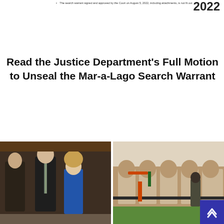The search warrant signed and approved by the Court on August 5, 2022, including attachments, is not fit out
2022
Read the Justice Department's Full Motion to Unseal the Mar-a-Lago Search Warrant
[Figure (photo): People in a courtroom, including two men in suits and a woman with curly hair]
[Figure (photo): A security guard walking near a building with arched entryways and a playground]
Two in Arbery Case Sentenced Again to Life in Prison; Third Man Gets 35 Years
Killings of 4 Men in Albuquerque Leave Muslim Community in Fear
[Figure (photo): A man in a soccer jersey with NOLA branding]
[Figure (photo): Crowd at a sports event with raised fists]